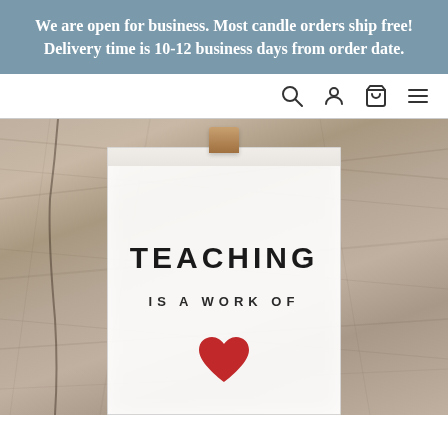We are open for business. Most candle orders ship free! Delivery time is 10-12 business days from order date.
[Figure (other): Navigation bar with search, account, cart, and menu icons on white background]
[Figure (photo): Close-up photo of a white soy candle in a clear glass jar on a wooden background. The candle label reads 'TEACHING IS A WORK OF' with a red heart below, suggesting the full phrase is 'Teaching is a work of heart'.]